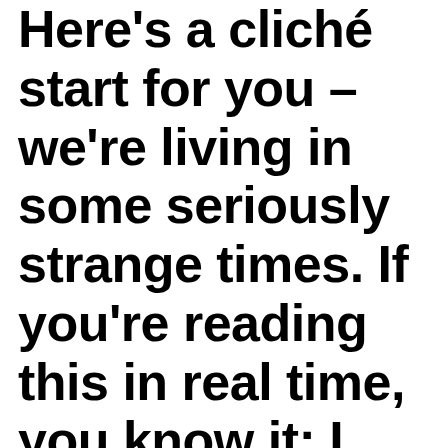Here's a cliché start for you – we're living in some seriously strange times. If you're reading this in real time, you know it; I don't need to spend any time